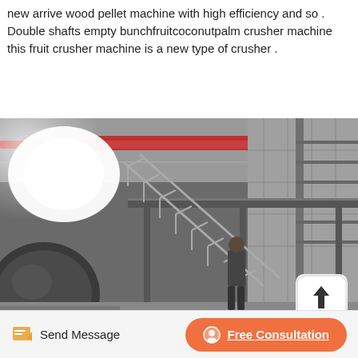new arrive wood pellet machine with high efficiency and so . Double shafts empty bunchfruitcoconutpalm crusher machine this fruit crusher machine is a new type of crusher .
[Figure (photo): Industrial warehouse interior showing large machinery with metal staircases and overhead crane beams. A person is visible on the right side of the staircase. Bright light source visible on the upper left. An upload/share icon button is visible in the lower-right corner of the photo.]
Send Message
Free Consultation